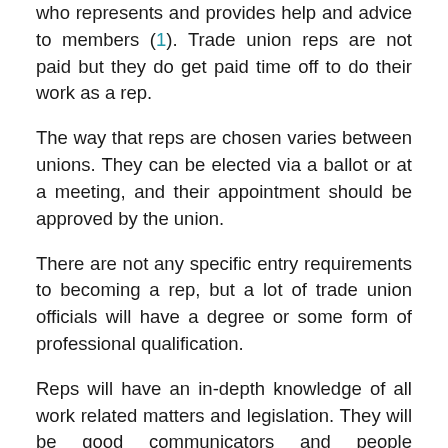who represents and provides help and advice to members (1). Trade union reps are not paid but they do get paid time off to do their work as a rep.
The way that reps are chosen varies between unions. They can be elected via a ballot or at a meeting, and their appointment should be approved by the union.
There are not any specific entry requirements to becoming a rep, but a lot of trade union officials will have a degree or some form of professional qualification.
Reps will have an in-depth knowledge of all work related matters and legislation. They will be good communicators and people managers and skilled problem solvers.
The reps are the mainstay of the trade union